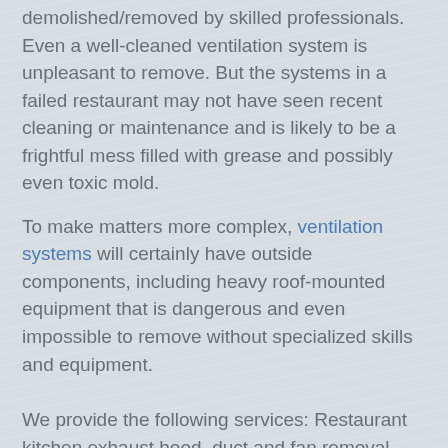Restaurant Ventilation Systems need to be demolished/removed by skilled professionals. Even a well-cleaned ventilation system is unpleasant to remove. But the systems in a failed restaurant may not have seen recent cleaning or maintenance and is likely to be a frightful mess filled with grease and possibly even toxic mold.
To make matters more complex, ventilation systems will certainly have outside components, including heavy roof-mounted equipment that is dangerous and even impossible to remove without specialized skills and equipment.
We provide the following services: Restaurant kitchen exhaust hood, duct and fan removal, restaurant kitchen exhaust system removal and demolition. We remove restaurant exhaust hoods and other application of commercial kitchen and cooking hood vents.